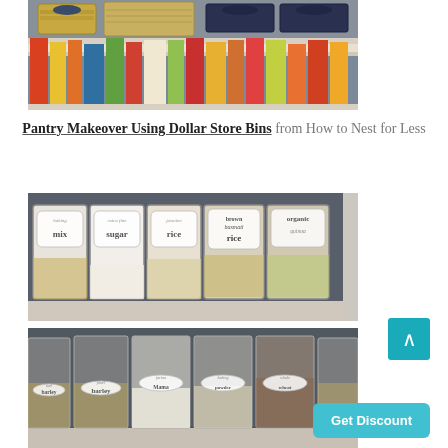[Figure (photo): Pantry shelf photo showing wicker baskets on top shelf and colorful cereal/food boxes on lower shelf]
Pantry Makeover Using Dollar Store Bins from How to Nest for Less
[Figure (photo): Organized pantry shelf with labeled glass jars containing mix, sugar, rice, brown rice, and organic items]
[Figure (photo): Pantry shelf with labeled bins containing barley, flour, baking supplies, and other dry goods]